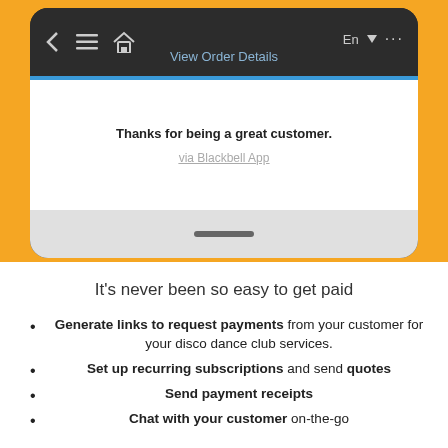[Figure (screenshot): Mobile app screenshot showing a dark navigation bar with back arrow, hamburger menu, home icon, 'View Order Details' title in blue, language selector 'En', and overflow menu. Below is a white content area showing 'Thanks for being a great customer.' in bold and 'via Blackbell App' as a gray underlined link. The phone has a gray bottom bar with a home indicator.]
It's never been so easy to get paid
Generate links to request payments from your customer for your disco dance club services.
Set up recurring subscriptions and send quotes
Send payment receipts
Chat with your customer on-the-go